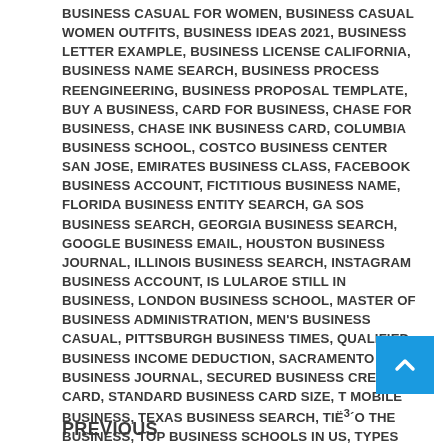BUSINESS CASUAL FOR WOMEN, BUSINESS CASUAL WOMEN OUTFITS, BUSINESS IDEAS 2021, BUSINESS LETTER EXAMPLE, BUSINESS LICENSE CALIFORNIA, BUSINESS NAME SEARCH, BUSINESS PROCESS REENGINEERING, BUSINESS PROPOSAL TEMPLATE, BUY A BUSINESS, CARD FOR BUSINESS, CHASE FOR BUSINESS, CHASE INK BUSINESS CARD, COLUMBIA BUSINESS SCHOOL, COSTCO BUSINESS CENTER SAN JOSE, EMIRATES BUSINESS CLASS, FACEBOOK BUSINESS ACCOUNT, FICTITIOUS BUSINESS NAME, FLORIDA BUSINESS ENTITY SEARCH, GA SOS BUSINESS SEARCH, GEORGIA BUSINESS SEARCH, GOOGLE BUSINESS EMAIL, HOUSTON BUSINESS JOURNAL, ILLINOIS BUSINESS SEARCH, INSTAGRAM BUSINESS ACCOUNT, IS LULAROE STILL IN BUSINESS, LONDON BUSINESS SCHOOL, MASTER OF BUSINESS ADMINISTRATION, MEN'S BUSINESS CASUAL, PITTSBURGH BUSINESS TIMES, QUALIFIED BUSINESS INCOME DEDUCTION, SACRAMENTO BUSINESS JOURNAL, SECURED BUSINESS CREDIT CARD, STANDARD BUSINESS CARD SIZE, T MOBILE BUSINESS, TEXAS BUSINESS SEARCH, TIË³´O THE BUSINESS, TOP BUSINESS SCHOOLS IN US, TYPES OF BUSIN
PREVIOUS